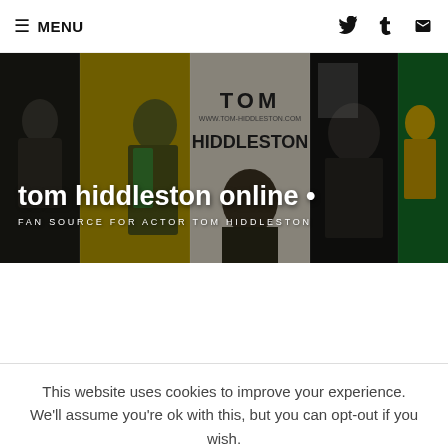≡ MENU
[Figure (photo): Tom Hiddleston Online fan site banner with collage of photos of Tom Hiddleston on yellow/green/dark backgrounds with site title overlay]
tom hiddleston online •
FAN SOURCE FOR ACTOR TOM HIDDLESTON
This website uses cookies to improve your experience. We'll assume you're ok with this, but you can opt-out if you wish.
Cookie settings
ACCEPT